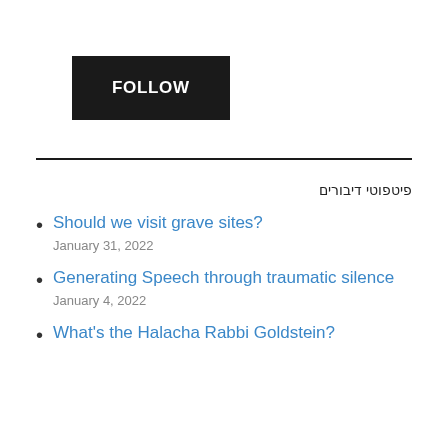[Figure (other): Black rectangular FOLLOW button]
פיטפוטי דיבורים
Should we visit grave sites?
January 31, 2022
Generating Speech through traumatic silence
January 4, 2022
What's the Halacha Rabbi Goldstein?